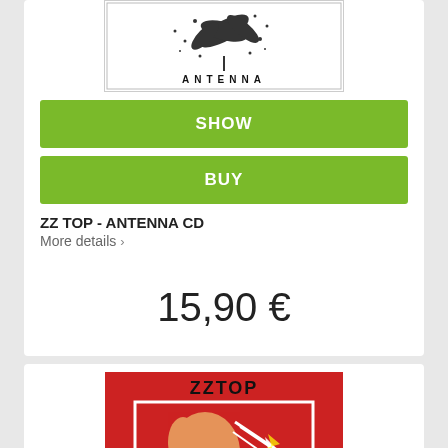[Figure (photo): ZZ Top Antenna CD album cover - black and white illustration with text ANTENNA at bottom]
SHOW
BUY
ZZ TOP - ANTENNA CD
More details ›
15,90 €
[Figure (photo): ZZ Top album cover - red background with ZZ TOP text and illustrated figure with guitar, lightning bolts]